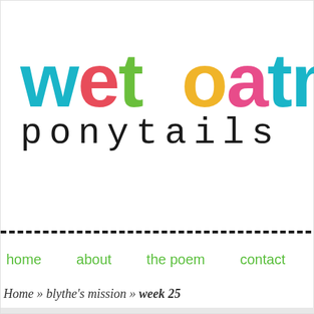wet oatm... ponytails
home   about   the poem   contact   archives   favorite p...
Home » blythe's mission » week 25